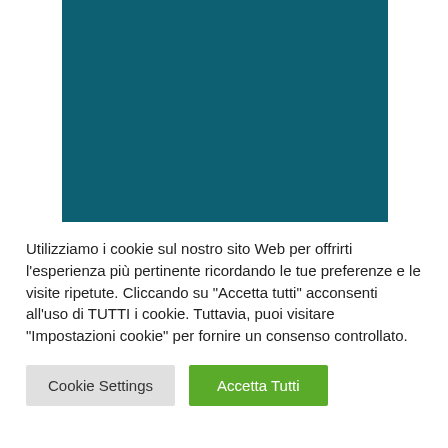[Figure (other): Teal/dark blue-green solid color rectangle]
Utilizziamo i cookie sul nostro sito Web per offrirti l'esperienza più pertinente ricordando le tue preferenze e le visite ripetute. Cliccando su "Accetta tutti" acconsenti all'uso di TUTTI i cookie. Tuttavia, puoi visitare "Impostazioni cookie" per fornire un consenso controllato.
Cookie Settings
Accetta Tutti